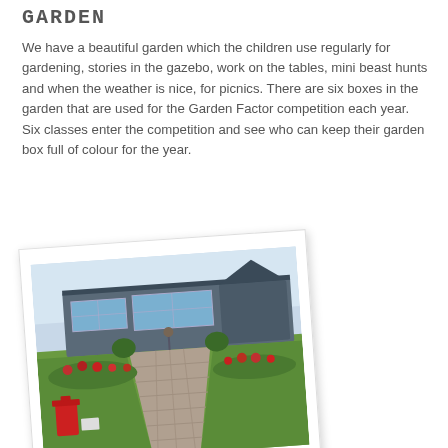GARDEN
We have a beautiful garden which the children use regularly for gardening, stories in the gazebo, work on the tables, mini beast hunts and when the weather is nice, for picnics. There are six boxes in the garden that are used for the Garden Factor competition each year. Six classes enter the competition and see who can keep their garden box full of colour for the year.
[Figure (photo): A polaroid-style photograph of a school garden showing a paved pathway leading towards a modern school building, with green lawns on either side, flower beds with red flowers, a red bin on the left, and a clear sky above.]